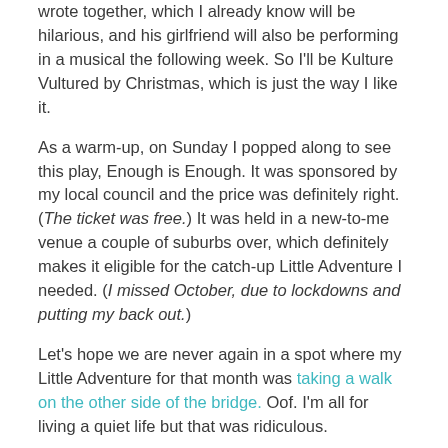wrote together, which I already know will be hilarious, and his girlfriend will also be performing in a musical the following week. So I'll be Kulture Vultured by Christmas, which is just the way I like it.
As a warm-up, on Sunday I popped along to see this play, Enough is Enough. It was sponsored by my local council and the price was definitely right. (The ticket was free.) It was held in a new-to-me venue a couple of suburbs over, which definitely makes it eligible for the catch-up Little Adventure I needed. (I missed October, due to lockdowns and putting my back out.)
Let's hope we are never again in a spot where my Little Adventure for that month was taking a walk on the other side of the bridge. Oof. I'm all for living a quiet life but that was ridiculous.
Anyway, back to the play. The blurb said that it was about gambling and was written by an award-winning